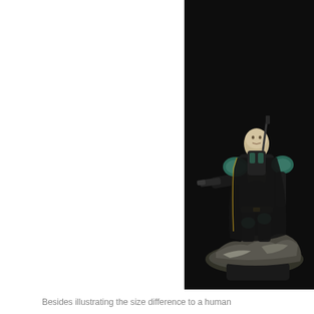[Figure (photo): A painted miniature figure (Space Marine / Warhammer-style warrior) in black armor with teal/green shoulder pads, holding a weapon, posed on a rocky scenic base. Photographed against a dark/black background. The figure is cropped on the right side of the page.]
Besides illustrating the size difference to a human